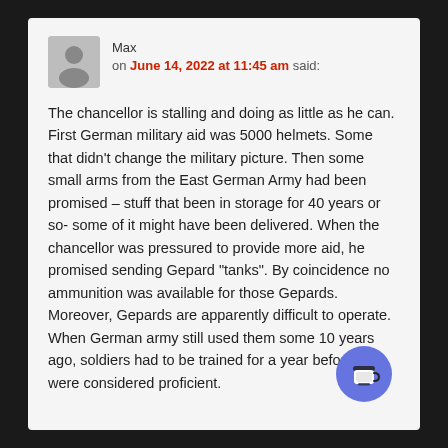Max
on June 14, 2022 at 11:45 am said:
The chancellor is stalling and doing as little as he can. First German military aid was 5000 helmets. Some that didn't change the military picture. Then some small arms from the East German Army had been promised – stuff that been in storage for 40 years or so- some of it might have been delivered. When the chancellor was pressured to provide more aid, he promised sending Gepard “tanks”. By coincidence no ammunition was available for those Gepards. Moreover, Gepards are apparently difficult to operate. When German army still used them some 10 years ago, soldiers had to be trained for a year before they were considered proficient.
[Figure (illustration): Blue circular coffee cup button icon in bottom right corner]